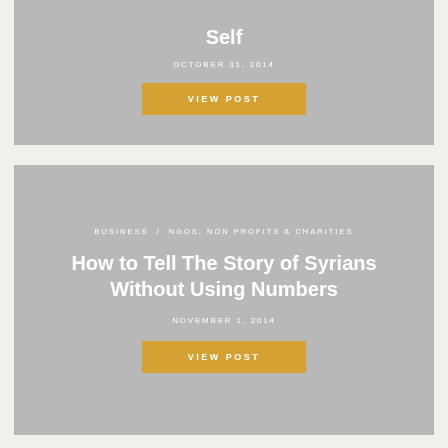Receive Smiles From Your Younger Self
OCTOBER 31, 2014
VIEW POST
BUSINESS  /  NGOS, NON PROFITS & CHARITIES
How to Tell The Story of Syrians Without Using Numbers
NOVEMBER 1, 2014
VIEW POST